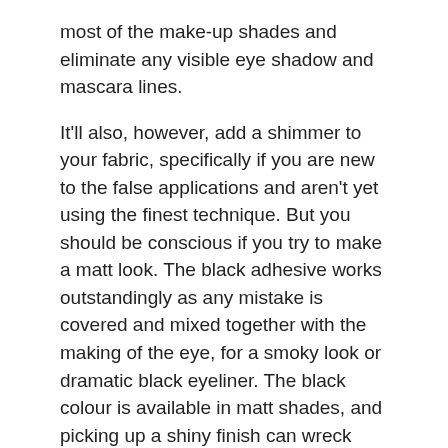most of the make-up shades and eliminate any visible eye shadow and mascara lines.
It'll also, however, add a shimmer to your fabric, specifically if you are new to the false applications and aren't yet using the finest technique. But you should be conscious if you try to make a matt look. The black adhesive works outstandingly as any mistake is covered and mixed together with the making of the eye, for a smoky look or dramatic black eyeliner. The black colour is available in matt shades, and picking up a shiny finish can wreck your appearance. Glossy adhesive can be more difficult to hide – while a matt one can mix much easier.
Where to Buy Eyelashes Adhesives for Less?
The prices of Eyelashes Adhesives in Australia sit